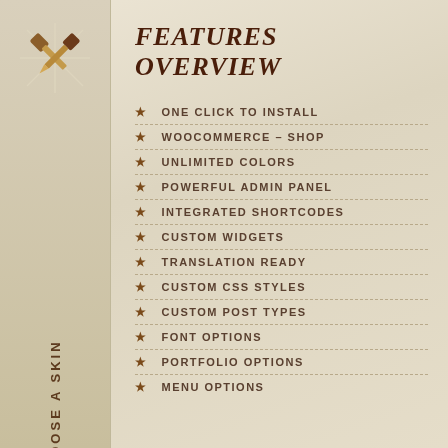[Figure (illustration): Crossed hammer and brush/tool icon in brown and tan on a light background, with radiating lines behind it]
FEATURES OVERVIEW
ONE CLICK TO INSTALL
WOOCOMMERCE – SHOP
UNLIMITED COLORS
POWERFUL ADMIN PANEL
INTEGRATED SHORTCODES
CUSTOM WIDGETS
TRANSLATION READY
CUSTOM CSS STYLES
CUSTOM POST TYPES
FONT OPTIONS
PORTFOLIO OPTIONS
MENU OPTIONS